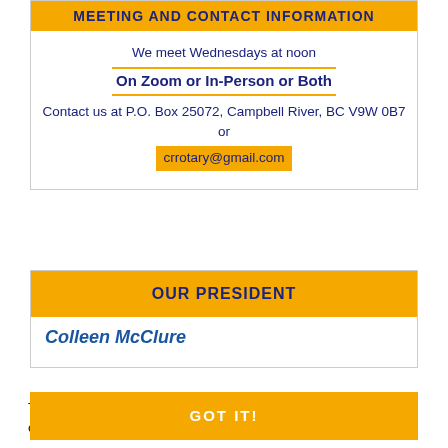MEETING AND CONTACT INFORMATION
We meet Wednesdays at noon
On Zoom or In-Person or Both
Contact us at P.O. Box 25072, Campbell River, BC V9W 0B7 or
crrotary@gmail.com
OUR PRESIDENT
Colleen McClure
This website uses cookies to ensure you get the best experience on our website. Learn more
GOT IT!